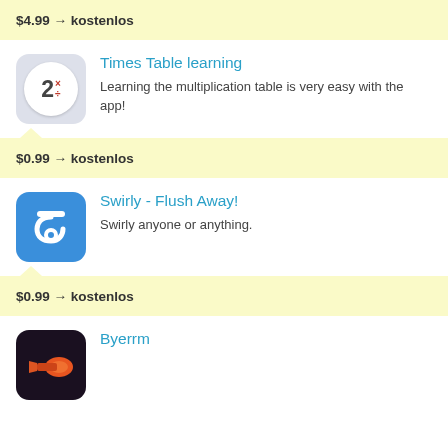$4.99 → kostenlos
[Figure (logo): Times Table learning app icon: gray circle background with white circle containing '2' with multiplication and division symbols in red]
Times Table learning
Learning the multiplication table is very easy with the app!
$0.99 → kostenlos
[Figure (logo): Swirly - Flush Away! app icon: blue square with white swirl/toilet symbol]
Swirly - Flush Away!
Swirly anyone or anything.
$0.99 → kostenlos
[Figure (logo): Byerrm app icon: dark background with orange/red megaphone illustration]
Byerrm